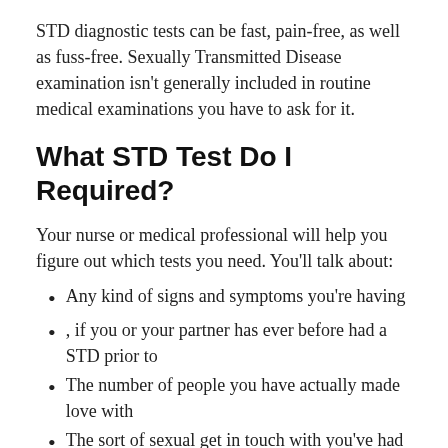STD diagnostic tests can be fast, pain-free, as well as fuss-free. Sexually Transmitted Disease examination isn't generally included in routine medical examinations you have to ask for it.
What STD Test Do I Required?
Your nurse or medical professional will help you figure out which tests you need. You'll talk about:
Any kind of signs and symptoms you're having
, if you or your partner has ever before had a STD prior to
The number of people you have actually made love with
The sort of sexual get in touch with you've had like oral, rectal, or vaginal sex, or